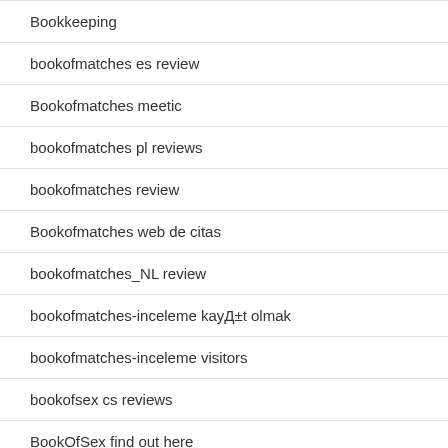Bookkeeping
bookofmatches es review
Bookofmatches meetic
bookofmatches pl reviews
bookofmatches review
Bookofmatches web de citas
bookofmatches_NL review
bookofmatches-inceleme kayД±t olmak
bookofmatches-inceleme visitors
bookofsex cs reviews
BookOfSex find out here